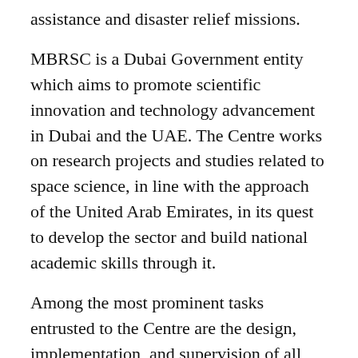assistance and disaster relief missions.
MBRSC is a Dubai Government entity which aims to promote scientific innovation and technology advancement in Dubai and the UAE. The Centre works on research projects and studies related to space science, in line with the approach of the United Arab Emirates, in its quest to develop the sector and build national academic skills through it.
Among the most prominent tasks entrusted to the Centre are the design, implementation, and supervision of all phases of launching the Hope Probe to explore Mars. The Centre is also responsible for all projects related to satellite technology and applications and specialized projects, and advanced technical projects assigned to stakeholders. Also, the Centre provides space